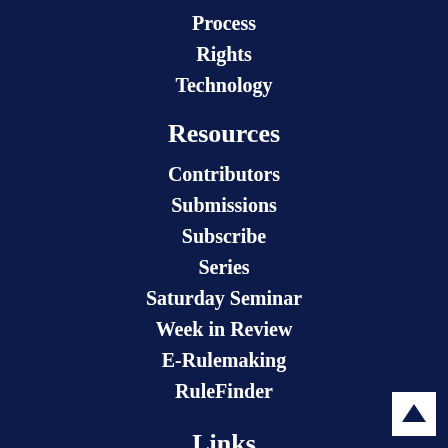Process
Rights
Technology
Resources
Contributors
Submissions
Subscribe
Series
Saturday Seminar
Week in Review
E-Rulemaking
RuleFinder
Links